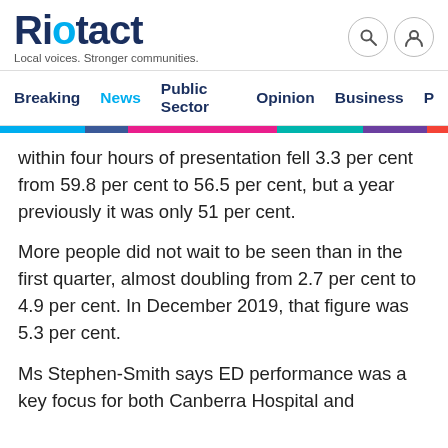Riotact – Local voices. Stronger communities.
Breaking  News  Public Sector  Opinion  Business
within four hours of presentation fell 3.3 per cent from 59.8 per cent to 56.5 per cent, but a year previously it was only 51 per cent.
More people did not wait to be seen than in the first quarter, almost doubling from 2.7 per cent to 4.9 per cent. In December 2019, that figure was 5.3 per cent.
Ms Stephen-Smith says ED performance was a key focus for both Canberra Hospital and